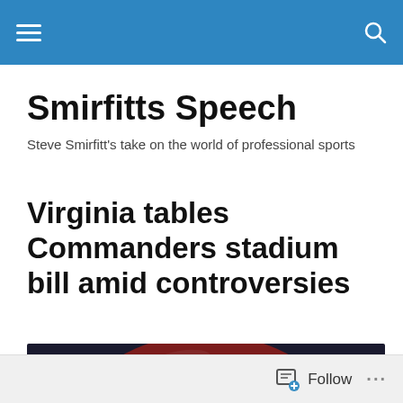Smirfitts Speech
Steve Smirfitt's take on the world of professional sports
Virginia tables Commanders stadium bill amid controversies
[Figure (photo): A Washington Commanders football helmet in dark red and gold/yellow colors photographed against a dark background.]
Follow